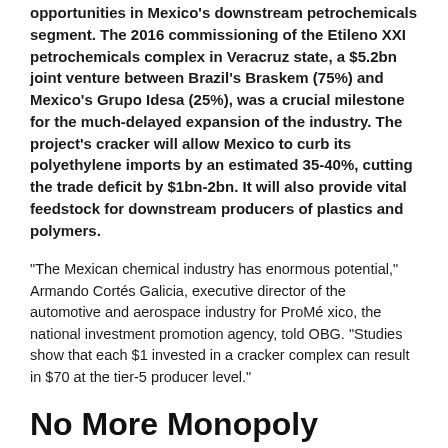opportunities in Mexico's downstream petrochemicals segment. The 2016 commissioning of the Etileno XXI petrochemicals complex in Veracruz state, a $5.2bn joint venture between Brazil's Braskem (75%) and Mexico's Grupo Idesa (25%), was a crucial milestone for the much-delayed expansion of the industry. The project's cracker will allow Mexico to curb its polyethylene imports by an estimated 35-40%, cutting the trade deficit by $1bn-2bn. It will also provide vital feedstock for downstream producers of plastics and polymers.
“The Mexican chemical industry has enormous potential,” Armando Cortés Galicia, executive director of the automotive and aerospace industry for ProMé xico, the national investment promotion agency, told OBG. “Studies show that each $1 invested in a cracker complex can result in $70 at the tier-5 producer level.”
No More Monopoly
The commissioning of Etileno XXI represents the end of the